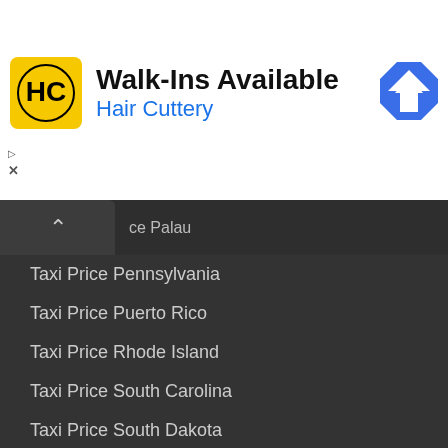[Figure (other): Hair Cuttery advertisement banner: Walk-Ins Available with HC logo and navigation arrow icon]
Taxi Price Pennsylvania
Taxi Price Puerto Rico
Taxi Price Rhode Island
Taxi Price South Carolina
Taxi Price South Dakota
Taxi Price Tennessee
Taxi Price Texas
Taxi Price Utah